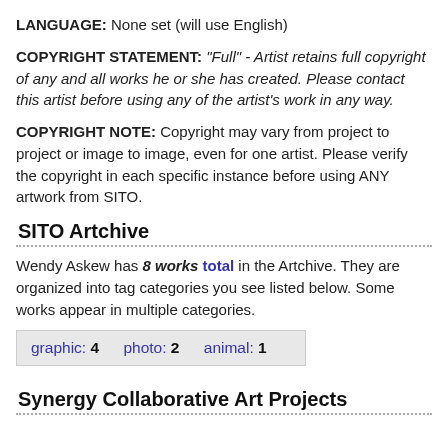LANGUAGE: None set (will use English)
COPYRIGHT STATEMENT: "Full" - Artist retains full copyright of any and all works he or she has created. Please contact this artist before using any of the artist's work in any way.
COPYRIGHT NOTE: Copyright may vary from project to project or image to image, even for one artist. Please verify the copyright in each specific instance before using ANY artwork from SITO.
SITO Artchive
Wendy Askew has 8 works total in the Artchive. They are organized into tag categories you see listed below. Some works appear in multiple categories.
graphic: 4   photo: 2   animal: 1
Synergy Collaborative Art Projects